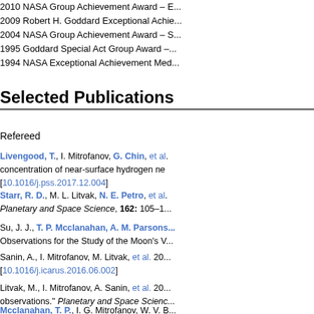2010 NASA Group Achievement Award – E...
2009 Robert H. Goddard Exceptional Achie...
2004 NASA Group Achievement Award – S...
1995 Goddard Special Act Group Award –...
1994 NASA Exceptional Achievement Med...
Selected Publications
Refereed
Livengood, T., I. Mitrofanov, G. Chin, et al. concentration of near-surface hydrogen ne [10.1016/j.pss.2017.12.004]
Starr, R. D., M. L. Litvak, N. E. Petro, et al. Planetary and Space Science, 162: 105–1...
Su, J. J., T. P. Mcclanahan, A. M. Parsons... Observations for the Study of the Moon's V...
Sanin, A., I. Mitrofanov, M. Litvak, et al. 20... [10.1016/j.icarus.2016.06.002]
Litvak, M., I. Mitrofanov, A. Sanin, et al. 20... observations. Planetary and Space Scienc...
Mcclanahan, T. P., I. G. Mitrofanov, W. V. B... the Moon's southern pole-facing slopes. Ic...